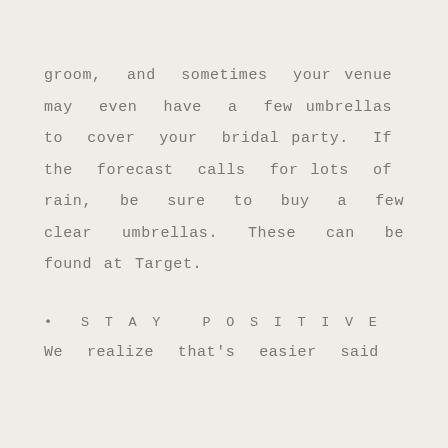groom, and sometimes your venue may even have a few umbrellas to cover your bridal party. If the forecast calls for lots of rain, be sure to buy a few clear umbrellas. These can be found at Target.
• STAY POSITIVE
We realize that's easier said